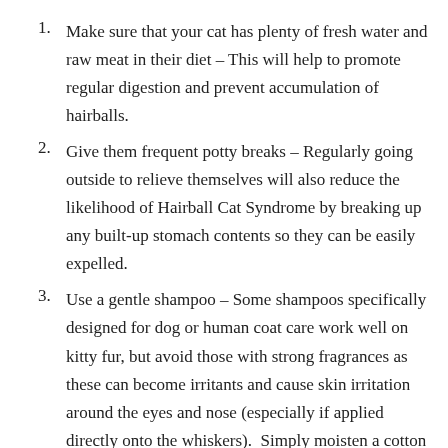Make sure that your cat has plenty of fresh water and raw meat in their diet – This will help to promote regular digestion and prevent accumulation of hairballs.
Give them frequent potty breaks – Regularly going outside to relieve themselves will also reduce the likelihood of Hairball Cat Syndrome by breaking up any built-up stomach contents so they can be easily expelled.
Use a gentle shampoo – Some shampoos specifically designed for dog or human coat care work well on kitty fur, but avoid those with strong fragrances as these can become irritants and cause skin irritation around the eyes and nose (especially if applied directly onto the whiskers).  Simply moisten a cotton